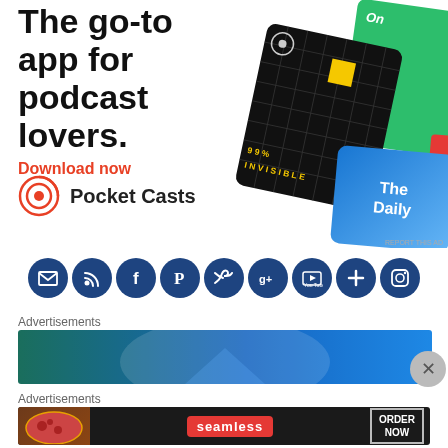[Figure (advertisement): Pocket Casts app advertisement showing podcast app cards (99% Invisible, The Daily) with text 'The go-to app for podcast lovers. Download now' and Pocket Casts logo]
[Figure (infographic): Row of social media icon buttons: email, RSS, Facebook, Pinterest, Twitter, Google+, YouTube, plus/more, Instagram — all in dark blue circles]
Advertisements
[Figure (advertisement): Blue/teal gradient advertisement banner with arc shape]
Advertisements
[Figure (advertisement): Seamless food delivery advertisement with pizza image, red Seamless badge, and ORDER NOW button]